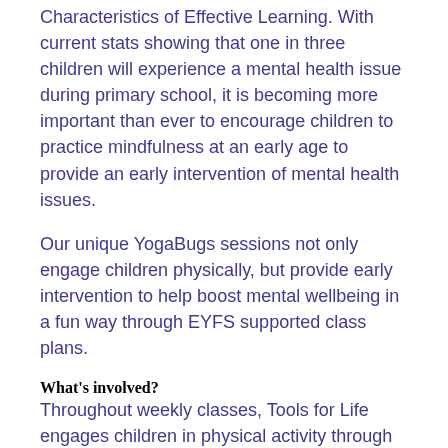Characteristics of Effective Learning. With current stats showing that one in three children will experience a mental health issue during primary school, it is becoming more important than ever to encourage children to practice mindfulness at an early age to provide an early intervention of mental health issues.
Our unique YogaBugs sessions not only engage children physically, but provide early intervention to help boost mental wellbeing in a fun way through EYFS supported class plans.
What's involved?
Throughout weekly classes, Tools for Life engages children in physical activity through fun story based adventures which can take them to high seas to play as pirates, fly through the cosmos as an astronaut or put